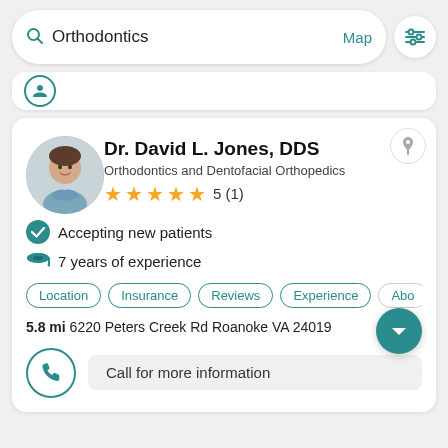[Figure (screenshot): Mobile app search bar with search icon, 'Orthodontics' text, 'Map' link, and filter icon button]
[Figure (screenshot): Partial previous search result card showing a circular logo]
Dr. David L. Jones, DDS
Orthodontics and Dentofacial Orthopedics
5  (1)
Accepting new patients
7 years of experience
Location  Insurance  Reviews  Experience  Abo
5.8 mi 6220 Peters Creek Rd Roanoke VA 24019
Call for more information